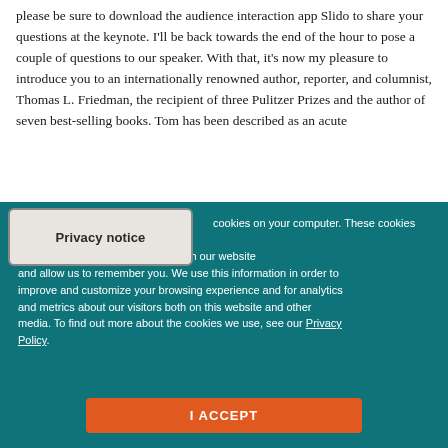please be sure to download the audience interaction app Slido to share your questions at the keynote. I'll be back towards the end of the hour to pose a couple of questions to our speaker. With that, it's now my pleasure to introduce you to an internationally renowned author, reporter, and columnist, Thomas L. Friedman, the recipient of three Pulitzer Prizes and the author of seven best-selling books. Tom has been described as an acute
Privacy notice
cookies on your computer. These cookies are nation about how you interact with our website and allow us to remember you. We use this information in order to improve and customize your browsing experience and for analytics and metrics about our visitors both on this website and other media. To find out more about the cookies we use, see our Privacy Policy.
I ACCEPT